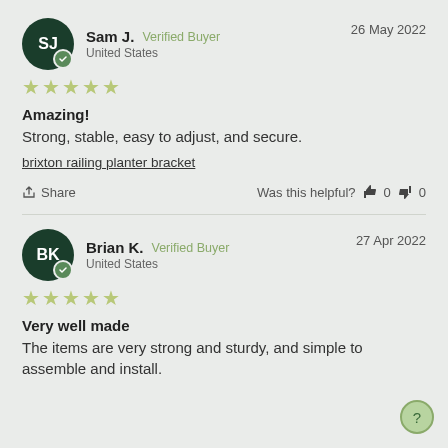Sam J. Verified Buyer — 26 May 2022 — United States — ★★★★★
Amazing!
Strong, stable, easy to adjust, and secure.
brixton railing planter bracket
Share  Was this helpful? 👍 0 👎 0
Brian K. Verified Buyer — 27 Apr 2022 — United States — ★★★★★
Very well made
The items are very strong and sturdy, and simple to assemble and install.